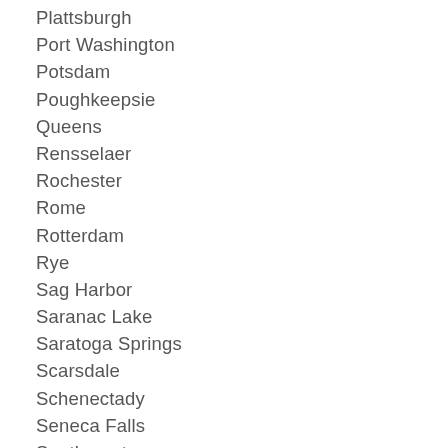Plattsburgh
Port Washington
Potsdam
Poughkeepsie
Queens
Rensselaer
Rochester
Rome
Rotterdam
Rye
Sag Harbor
Saranac Lake
Saratoga Springs
Scarsdale
Schenectady
Seneca Falls
Southampton
Staten Island
Stony Brook
Stony Point